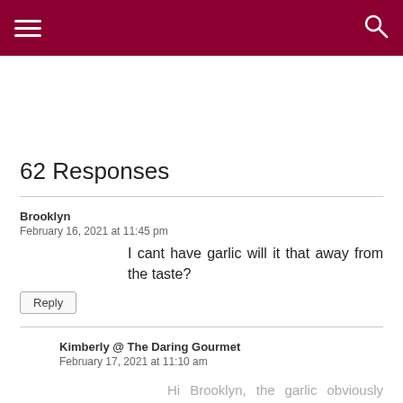Navigation header with hamburger menu and search icon
62 Responses
Brooklyn
February 16, 2021 at 11:45 pm
I cant have garlic will it that away from the taste?
Kimberly @ The Daring Gourmet
February 17, 2021 at 11:10 am
Hi Brooklyn, the garlic obviously contributes flavor but the sauce will still taste good without it.